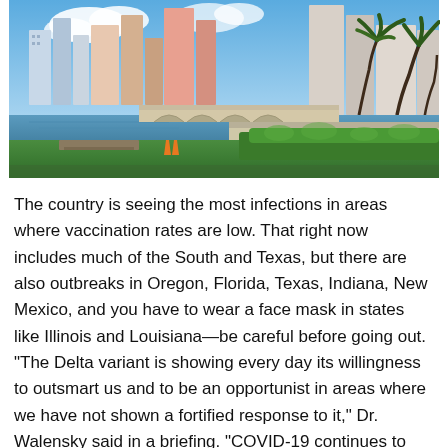[Figure (photo): Waterfront cityscape with palm trees, a stone bridge with arches, calm blue water, green hedges, and tall modern buildings with blue sky and clouds in the background. Florida coastal city scene.]
The country is seeing the most infections in areas where vaccination rates are low. That right now includes much of the South and Texas, but there are also outbreaks in Oregon, Florida, Texas, Indiana, New Mexico, and you have to wear a face mask in states like Illinois and Louisiana—be careful before going out. "The Delta variant is showing every day its willingness to outsmart us and to be an opportunist in areas where we have not shown a fortified response to it," Dr. Walensky said in a briefing. "COVID-19 continues to present many challenges and has exacted a tremendous toll on our nation."